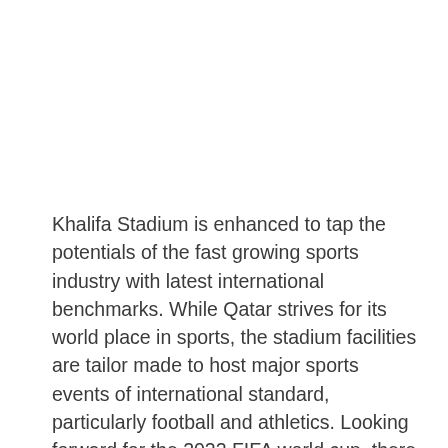Khalifa Stadium is enhanced to tap the potentials of the fast growing sports industry with latest international benchmarks. While Qatar strives for its world place in sports, the stadium facilities are tailor made to host major sports events of international standard, particularly football and athletics. Looking forward for the 2022 FIFA world cup, there are indications that the Khalifa Stadium with its luxurious belongings becomes an integral component and the focal point of the success of world cup.